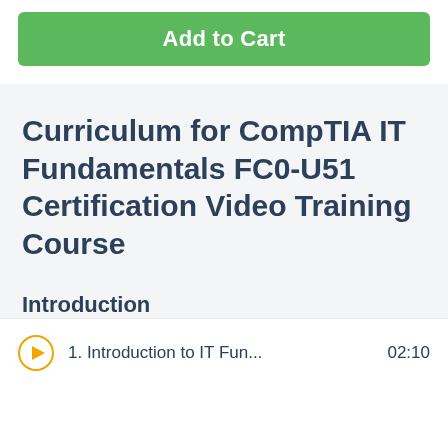[Figure (other): Green Add to Cart button]
Curriculum for CompTIA IT Fundamentals FC0-U51 Certification Video Training Course
Introduction
1. Introduction to IT Fun...  02:10